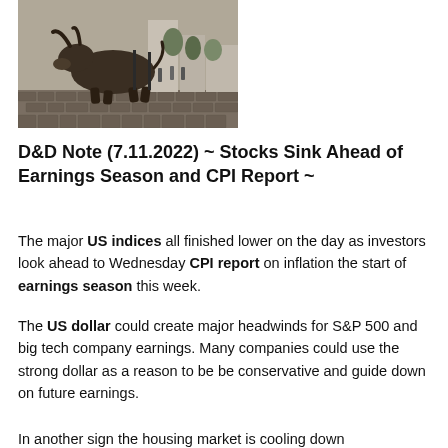[Figure (photo): Photo of the Charging Bull bronze sculpture on a cobblestone street with buildings and trees in the background.]
D&D Note (7.11.2022) ~ Stocks Sink Ahead of Earnings Season and CPI Report ~
The major US indices all finished lower on the day as investors look ahead to Wednesday CPI report on inflation the start of earnings season this week.
The US dollar could create major headwinds for S&P 500 and big tech company earnings. Many companies could use the strong dollar as a reason to be be conservative and guide down on future earnings.
In another sign the housing market is cooling down